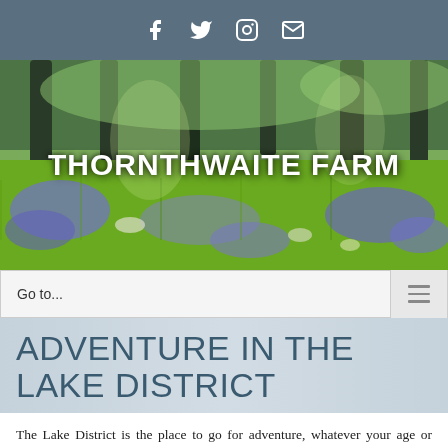f  ✓  ◎  ✉
[Figure (photo): Hero banner photograph of a bluebell woodland field with trees in the background and purple/blue flowers covering the forest floor, with 'THORNTHWAITE FARM' text overlaid in white bold letters]
THORNTHWAITE FARM
Go to...
ADVENTURE IN THE LAKE DISTRICT
The Lake District is the place to go for adventure, whatever your age or ability, there is something fo...